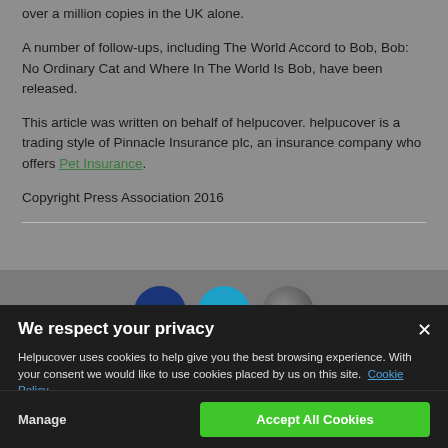over a million copies in the UK alone.
A number of follow-ups, including The World Accord to Bob, Bob: No Ordinary Cat and Where In The World Is Bob, have been released.
This article was written on behalf of helpucover. helpucover is a trading style of Pinnacle Insurance plc, an insurance company who offers Pet Insurance.
Copyright Press Association 2016
[Figure (other): Social sharing icons: dark blue circle, teal circle, gray circle]
We respect your privacy
Helpucover uses cookies to help give you the best browsing experience. With your consent we would like to use cookies placed by us on this site. Cookie Policy
Manage
Accept All Cookies